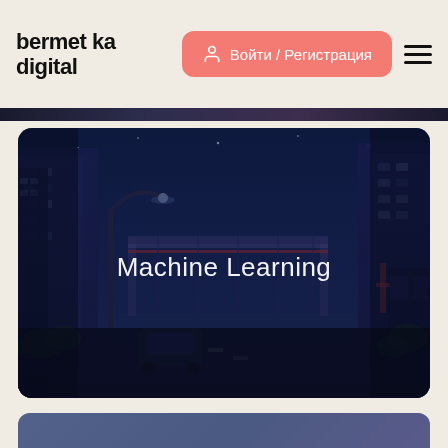bermet ka digital
Войти / Регистрация
[Figure (illustration): Anime-style night cityscape alley with buildings, street lights, an overhead bridge, dark blue atmospheric lighting, and the text 'Machine Learning' overlaid in white in the center.]